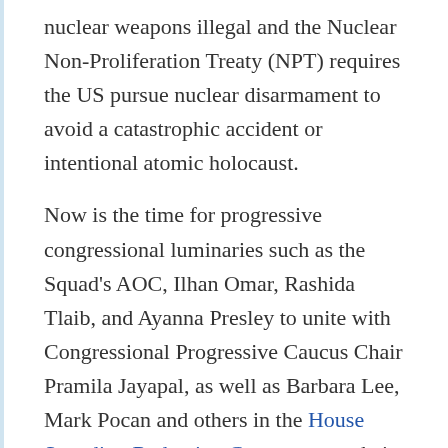nuclear weapons illegal and the Nuclear Non-Proliferation Treaty (NPT) requires the US pursue nuclear disarmament to avoid a catastrophic accident or intentional atomic holocaust.
Now is the time for progressive congressional luminaries such as the Squad's AOC, Ilhan Omar, Rashida Tlaib, and Ayanna Presley to unite with Congressional Progressive Caucus Chair Pramila Jayapal, as well as Barbara Lee, Mark Pocan and others in the House Spending Reduction Caucus to put their feet down and stand as a block against a bloated military budget.